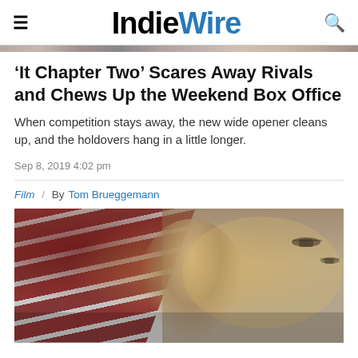IndieWire
'It Chapter Two' Scares Away Rivals and Chews Up the Weekend Box Office
When competition stays away, the new wide opener cleans up, and the holdovers hang in a little longer.
Sep 8, 2019 4:02 pm
Film / By Tom Brueggemann
[Figure (photo): Movie still image showing a man standing in front of an American flag with helicopters visible in the background sky]